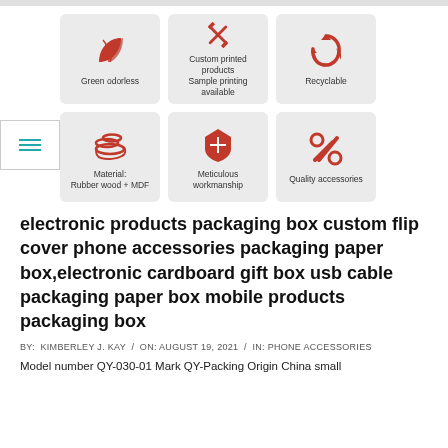[Figure (infographic): Six feature icons in a 2x3 grid: Green odorless (leaf icon), Custom printed products / Sample printing available (crossed tools icon), Recyclable (circular arrows icon), Material: Rubber wood + MDF (wood logs icon), Meticulous workmanship (shield icon), Quality accessories (wrench icon). All icons are red on grey rounded-square backgrounds.]
electronic products packaging box custom flip cover phone accessories packaging paper box,electronic cardboard gift box usb cable packaging paper box mobile products packaging box
BY: KIMBERLEY J. KAY / ON: AUGUST 19, 2021 / IN: PHONE ACCESSORIES
Model number QY-030-01 Mark QY-Packing Origin China small